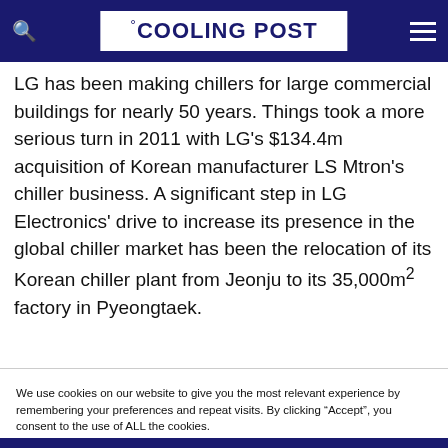COOLING POST
LG has been making chillers for large commercial buildings for nearly 50 years. Things took a more serious turn in 2011 with LG's $134.4m acquisition of Korean manufacturer LS Mtron's chiller business. A significant step in LG Electronics' drive to increase its presence in the global chiller market has been the relocation of its Korean chiller plant from Jeonju to its 35,000m² factory in Pyeongtaek.
We use cookies on our website to give you the most relevant experience by remembering your preferences and repeat visits. By clicking “Accept”, you consent to the use of ALL the cookies. Do not sell my personal information.